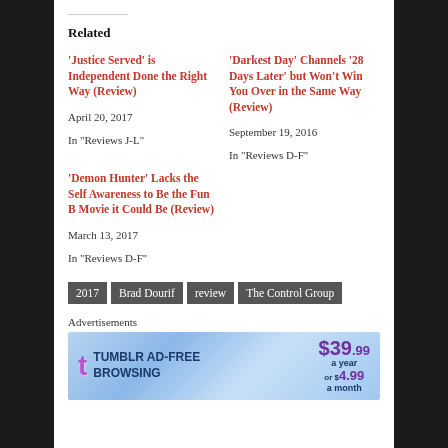Related
'Justice Served' is Independent Done the Right Way (Review)
April 20, 2017
In "Reviews J-L"
'Darkest Day' Channels '28 Days Later' but Won't Win You Over in the Same Way (Review)
September 19, 2016
In "Reviews D-F"
'Demon Hunter' Lacks the Self Awareness to Be the Fun B Movie it Could Be (Review)
March 13, 2017
In "Reviews D-F"
2017   Brad Dourif   review   The Control Group
Advertisements
[Figure (infographic): Tumblr Ad-Free Browsing advertisement banner showing $39.99 a year or $4.99 a month]